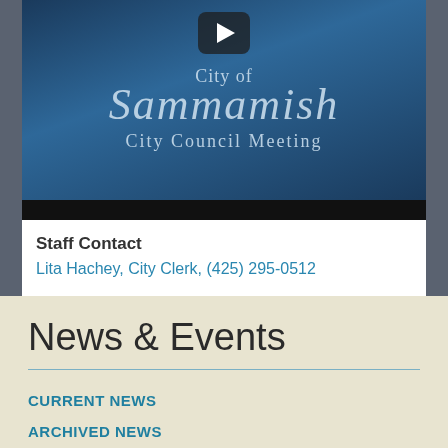[Figure (screenshot): City of Sammamish City Council Meeting video thumbnail with play button on blue background]
Staff Contact
Lita Hachey, City Clerk, (425) 295-0512
News & Events
CURRENT NEWS
ARCHIVED NEWS
CITY MEETINGS CALENDAR
CITY EVENT CALENDAR
CITY NEWSLETTER
TV 21